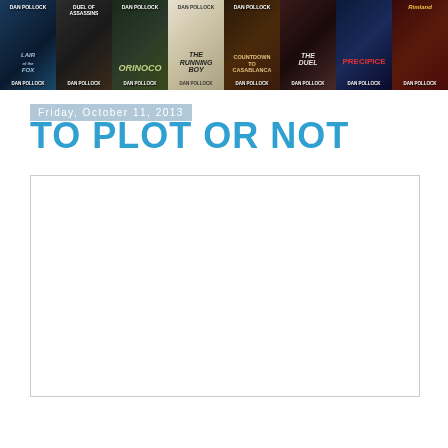[Figure (illustration): A horizontal banner showing 8 book covers by Dan Pollock: Lair of the Fox, Duel of Assassins, Orinoco, The Running Boy, Countdown to Casablanca, The Duel, Precipice, and Rimland]
Friday, October 11, 2013
TO PLOT OR NOT
[Figure (other): Empty white content box with border]